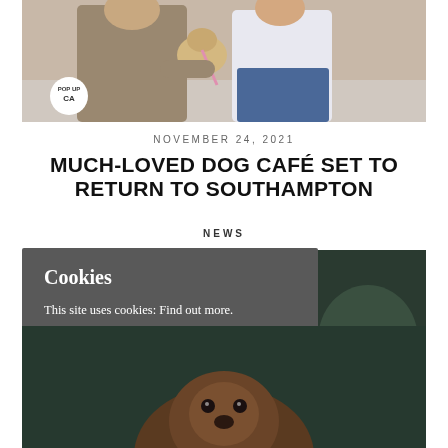[Figure (photo): Two people (a man in a tan/beige outfit and a woman in a white top with jeans) holding a small dog between them, photographed outdoors. A circular 'Pop Up' badge is visible in the lower left of the image.]
NOVEMBER 24, 2021
MUCH-LOVED DOG CAFÉ SET TO RETURN TO SOUTHAMPTON
NEWS
Cookies
This site uses cookies: Find out more.
OKAY
[Figure (photo): A close-up photo of a dog's face, partially obscured by the cookie consent overlay. The background is dark teal/green.]